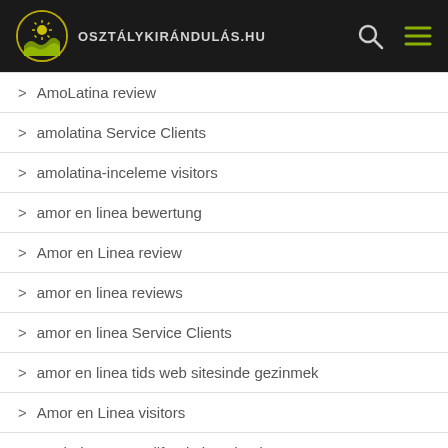osztálykirándulás.hu
AmoLatina review
amolatina Service Clients
amolatina-inceleme visitors
amor en linea bewertung
Amor en Linea review
amor en linea reviews
amor en linea Service Clients
amor en linea tids web sitesinde gezinmek
Amor en Linea visitors
Anaheim+CA+California best hookup apps
anastasiadate es review